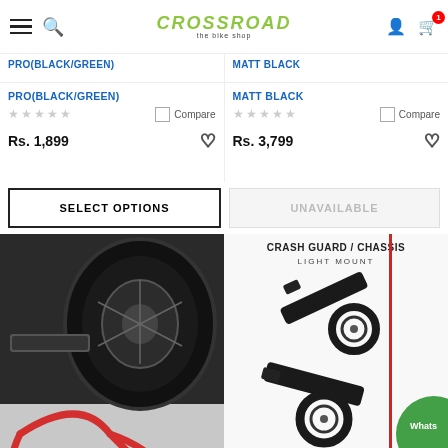Crossroad — The Bike Shop
PRO(BLACK/GREEN)
MATT BLACK
Compare
Compare
Rs. 1,899
Rs. 3,799
SELECT OPTIONS
UNAVAILABLE
[Figure (photo): Motorcycle rear wheel with red paddock stand on concrete floor]
[Figure (photo): CRASH GUARD / CHASSIS LIGHT MOUNT product image by SWASTIK FAHS LM 22]